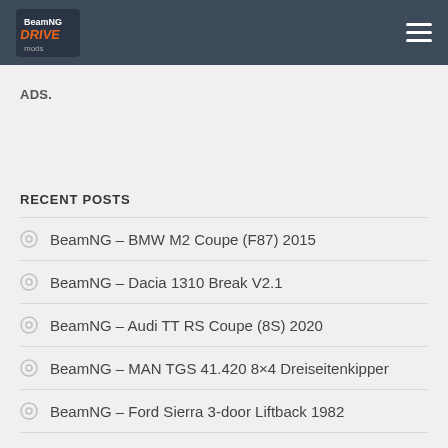BeamNG Drive Mods
ADS.
RECENT POSTS
BeamNG – BMW M2 Coupe (F87) 2015
BeamNG – Dacia 1310 Break V2.1
BeamNG – Audi TT RS Coupe (8S) 2020
BeamNG – MAN TGS 41.420 8×4 Dreiseitenkipper
BeamNG – Ford Sierra 3-door Liftback 1982